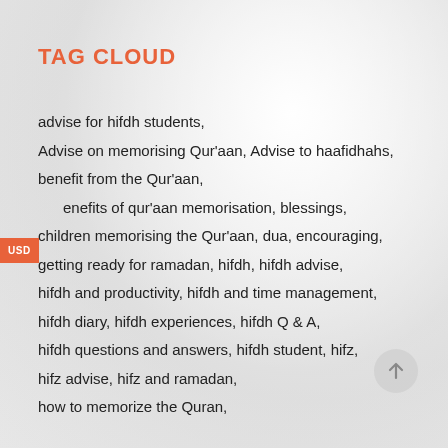TAG CLOUD
advise for hifdh students,
Advise on memorising Qur'aan, Advise to haafidhahs,
benefit from the Qur'aan,
benefits of qur'aan memorisation, blessings,
children memorising the Qur'aan, dua, encouraging,
getting ready for ramadan, hifdh, hifdh advise,
hifdh and productivity, hifdh and time management,
hifdh diary, hifdh experiences, hifdh Q & A,
hifdh questions and answers, hifdh student, hifz,
hifz advise, hifz and ramadan,
how to memorize the Quran,